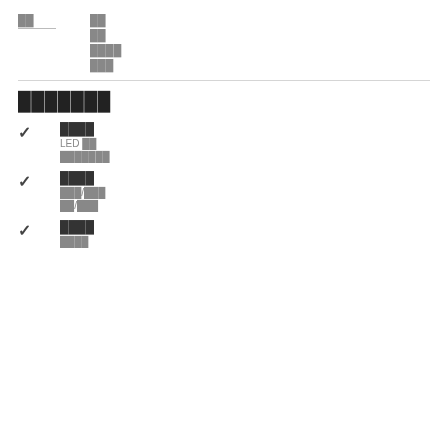██
██
██
████
███
███████
████
LED ██
███████
████
███/███
██/███
████
████